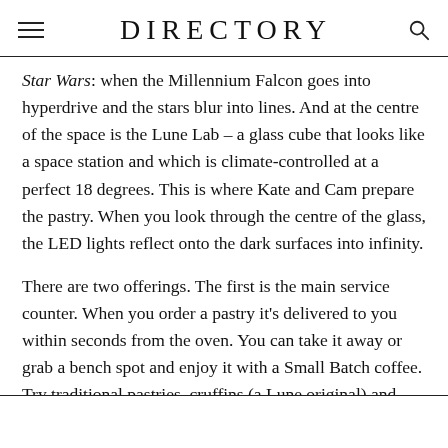DIRECTORY
Star Wars: when the Millennium Falcon goes into hyperdrive and the stars blur into lines. And at the centre of the space is the Lune Lab – a glass cube that looks like a space station and which is climate-controlled at a perfect 18 degrees. This is where Kate and Cam prepare the pastry. When you look through the centre of the glass, the LED lights reflect onto the dark surfaces into infinity.
There are two offerings. The first is the main service counter. When you order a pastry it's delivered to you within seconds from the oven. You can take it away or grab a bench spot and enjoy it with a Small Batch coffee. Try traditional pastries, cruffins (a Lune original) and twice-baked